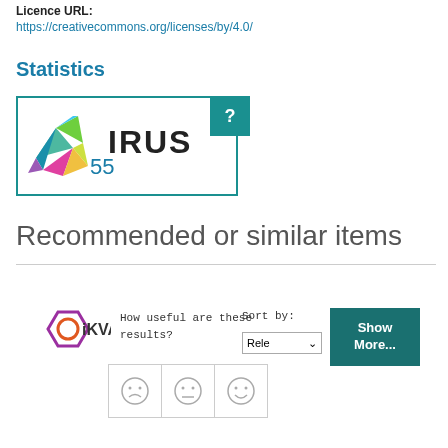Licence URL:
https://creativecommons.org/licenses/by/4.0/
Statistics
[Figure (logo): IRUS badge with colorful geometric bird logo, text IRUS, teal question mark badge, and number 55]
Recommended or similar items
[Figure (logo): IKVA logo - hexagon with circle O inside]
How useful are these results?
Sort by: Rele
Show More...